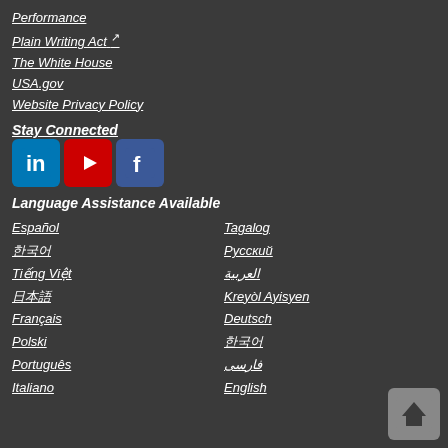Performance
Plain Writing Act
The White House
USA.gov
Website Privacy Policy
Stay Connected
[Figure (illustration): Social media icons: LinkedIn (blue), YouTube (red), Facebook (blue)]
Language Assistance Available
Español
Tagalog
한국어
Русский
Tiếng Việt
العربية
日本語
Kreyòl Ayisyen
Français
Deutsch
Polski
한국어
Português
فارسی
Italiano
English